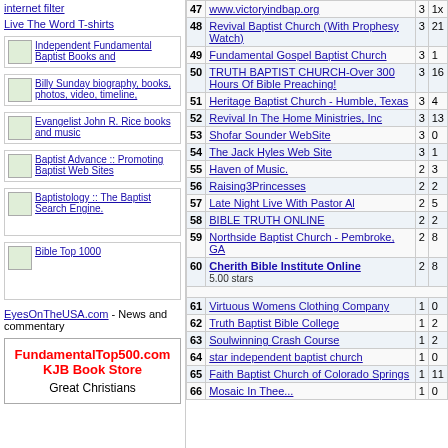internet filter
Live The Word T-shirts
[Figure (other): Independent Fundamental Baptist Books and widget box with small image]
[Figure (other): Billy Sunday biography, books, photos, video, timeline, widget box with small image]
[Figure (other): Evangelist John R. Rice books and music widget box with small image]
[Figure (other): Baptist Advance :: Promoting Baptist Web Sites widget box with small image]
[Figure (other): Baptistology :: The Baptist Search Engine. widget box with small image]
[Figure (other): Bible Top 1000 widget box with small image]
EyesOnTheUSA.com - News and commentary
[Figure (other): FundamentalTop500.com KJB Book Store Great Christians bookstore advertisement box]
| # | Site | In | Out |
| --- | --- | --- | --- |
| 47 | www.victoryindbap.org | 3 | 1x |
| 48 | Revival Baptist Church (With Prophesy Watch) | 3 | 21 |
| 49 | Fundamental Gospel Baptist Church | 3 | 1 |
| 50 | TRUTH BAPTIST CHURCH-Over 300 Hours Of Bible Preaching! | 3 | 16 |
| 51 | Heritage Baptist Church - Humble, Texas | 3 | 4 |
| 52 | Revival In The Home Ministries, Inc | 3 | 13 |
| 53 | Shofar Sounder WebSite | 3 | 0 |
| 54 | The Jack Hyles Web Site | 3 | 1 |
| 55 | Haven of Music. | 2 | 3 |
| 56 | Raising3Princesses | 2 | 2 |
| 57 | Late Night Live With Pastor Al | 2 | 5 |
| 58 | BIBLE TRUTH ONLINE | 2 | 2 |
| 59 | Northside Baptist Church - Pembroke, GA | 2 | 8 |
| 60 | Cherith Bible Institute Online 5.00 stars | 2 | 8 |
| 61 | Virtuous Womens Clothing Company | 1 | 0 |
| 62 | Truth Baptist Bible College | 1 | 2 |
| 63 | Soulwinning Crash Course | 1 | 2 |
| 64 | star independent baptist church | 1 | 0 |
| 65 | Faith Baptist Church of Colorado Springs | 1 | 11 |
| 66 | Mosaic In Thee... | 1 | 0 |